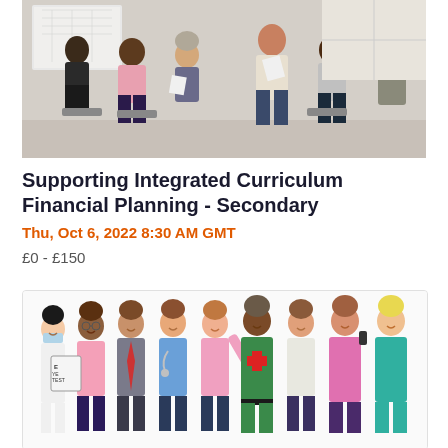[Figure (photo): A group of people sitting in a circle in a meeting or workshop setting, some holding papers, with a whiteboard visible in the background.]
Supporting Integrated Curriculum Financial Planning - Secondary
Thu, Oct 6, 2022 8:30 AM GMT
£0 - £150
[Figure (illustration): A colourful illustration of a diverse group of healthcare and professional workers including doctors, nurses, and other professionals standing together.]